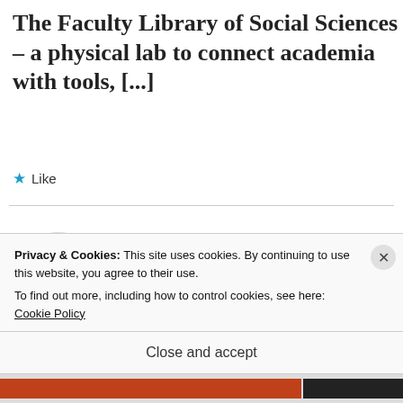The Faculty Library of Social Sciences – a physical lab to connect academia with tools, [...]
★ Like
REPLY
[Figure (photo): Circular avatar photo of a bearded man smiling, with a warm brown background]
Are we making #libraries for people or libraries
Privacy & Cookies: This site uses cookies. By continuing to use this website, you agree to their use.
To find out more, including how to control cookies, see here: Cookie Policy
Close and accept